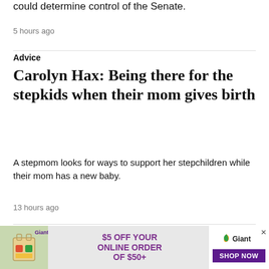could determine control of the Senate.
5 hours ago
Advice
Carolyn Hax: Being there for the stepkids when their mom gives birth
A stepmom looks for ways to support her stepchildren while their mom has a new baby.
13 hours ago
[Figure (infographic): Giant grocery store advertisement banner: '$5 OFF YOUR ONLINE ORDER OF $50+' with Giant logo and SHOP NOW button]